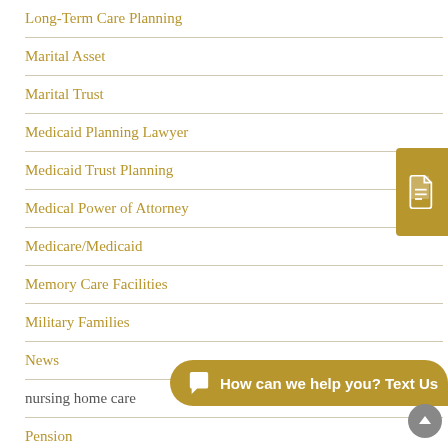Long-Term Care Planning
Marital Asset
Marital Trust
Medicaid Planning Lawyer
Medicaid Trust Planning
Medical Power of Attorney
Medicare/Medicaid
Memory Care Facilities
Military Families
News
nursing home care
Pension
Personal Representative